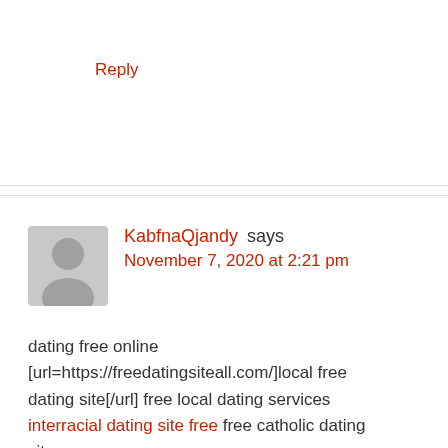Reply
KabfnaQjandy says
November 7, 2020 at 2:21 pm
dating free online [url=https://freedatingsiteall.com/]local free dating site[/url] free local dating services interracial dating site free free catholic dating sites
Reply